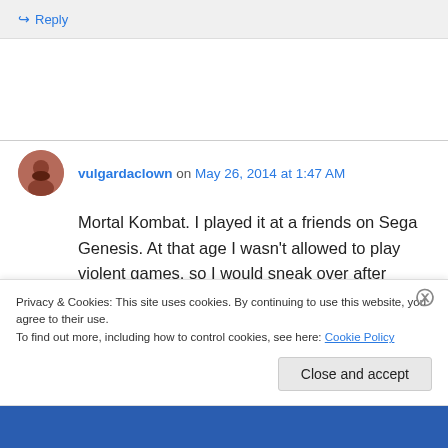↪ Reply
vulgardaclown on May 26, 2014 at 1:47 AM
Mortal Kombat. I played it at a friends on Sega Genesis. At that age I wasn't allowed to play violent games, so I would sneak over after school and play all day learning and perfecting
Privacy & Cookies: This site uses cookies. By continuing to use this website, you agree to their use.
To find out more, including how to control cookies, see here: Cookie Policy
Close and accept